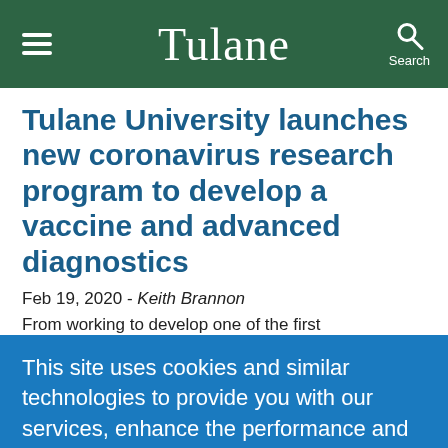Tulane
Tulane University launches new coronavirus research program to develop a vaccine and advanced diagnostics
Feb 19, 2020 - Keith Brannon
From working to develop one of the first
This site uses cookies and similar technologies to provide you with our services, enhance the performance and functionality of our services, analyze the use of our products and services, and assist with our advertising and marketing efforts.  Privacy Notice  GDPR Privacy Policy
ACCEPT  Decline